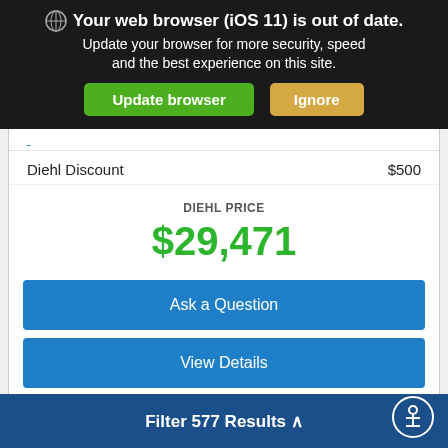[Figure (screenshot): Browser warning banner with globe icon, text 'Your web browser (iOS 11) is out of date. Update your browser for more security, speed and the best experience on this site.' with green 'Update browser' and orange 'Ignore' buttons on dark background.]
Diehl Discount   $500
DIEHL PRICE
$29,471
Ask a Question
View Details
Diehl Of Butler   833.995.0456
Filter 577 Results ^